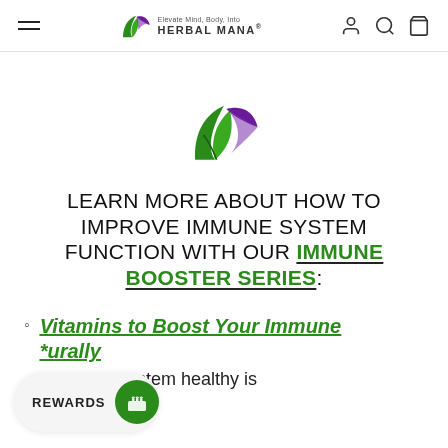HERBAL MANA® (navigation header with hamburger menu, logo, account/search/cart icons)
[Figure (logo): Herbal Mana green and purple leaf logo icon, centered on white background]
LEARN MORE ABOUT HOW TO IMPROVE IMMUNE SYSTEM FUNCTION WITH OUR IMMUNE BOOSTER SERIES:
Vitamins to Boost Your Immune System Naturally
immune system healthy is